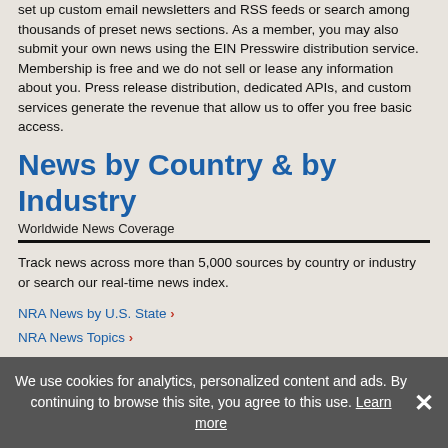set up custom email newsletters and RSS feeds or search among thousands of preset news sections. As a member, you may also submit your own news using the EIN Presswire distribution service. Membership is free and we do not sell or lease any information about you. Press release distribution, dedicated APIs, and custom services generate the revenue that allow us to offer you free basic access.
News by Country & by Industry
Worldwide News Coverage
Track news across more than 5,000 sources by country or industry or search our real-time news index.
NRA News by U.S. State >
NRA News Topics >
Online News Publications >
World News Report >
News Alerts & News Feeds
We use cookies for analytics, personalized content and ads. By continuing to browse this site, you agree to this use. Learn more